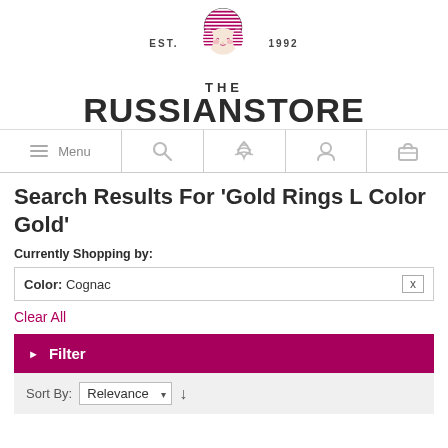[Figure (logo): The Russian Store logo with matryoshka doll illustration, EST. 1992 text, and THE RUSSIANSTORE wordmark]
[Figure (infographic): Navigation bar with Menu (hamburger icon), Search (magnifying glass), RSS/Audio icon, Account (person icon), and Cart (shopping cart icon)]
Search Results For 'Gold Rings L Color Gold'
Currently Shopping by:
Color: Cognac   X
Clear All
▶ Filter
Sort By: Relevance ▾ ↓